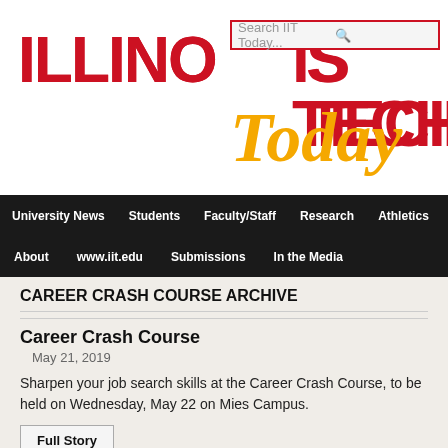[Figure (logo): Illinois Tech Today logo with red ILLINOIS TECH text and orange italic Today text, plus a search bar overlay]
University News | Students | Faculty/Staff | Research | Athletics | About | www.iit.edu | Submissions | In the Media
CAREER CRASH COURSE ARCHIVE
Career Crash Course
May 21, 2019
Sharpen your job search skills at the Career Crash Course, to be held on Wednesday, May 22 on Mies Campus.
Full Story
Career Crash Course